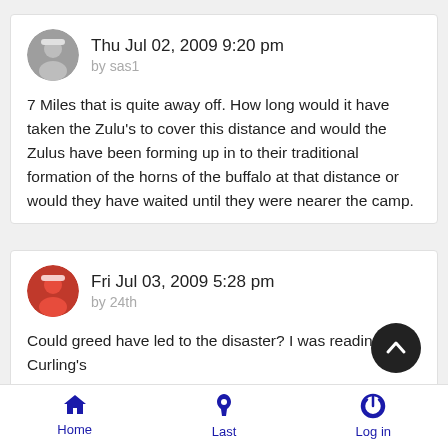Thu Jul 02, 2009 9:20 pm
by sas1

7 Miles that is quite away off. How long would it have taken the Zulu's to cover this distance and would the Zulus have been forming up in to their traditional formation of the horns of the buffalo at that distance or would they have waited until they were nearer the camp.
Fri Jul 03, 2009 5:28 pm
by 24th

Could greed have led to the disaster? I was reading Curling's
Home   Last   Log in